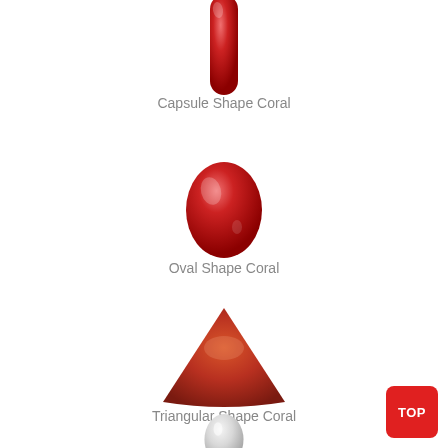[Figure (illustration): A tall narrow vertical capsule/pill shape in coral red color with glossy shading, partially cropped at top]
Capsule Shape Coral
[Figure (illustration): An oval/egg shape in coral red color with glossy shading]
Oval Shape Coral
[Figure (illustration): A triangle shape in coral red/terracotta color with glossy shading]
Triangular Shape Coral
[Figure (illustration): A small oval/capsule shape in white/light grey color with glossy shading, partially cropped at bottom]
[Figure (other): A red rounded square button with the text TOP in white]